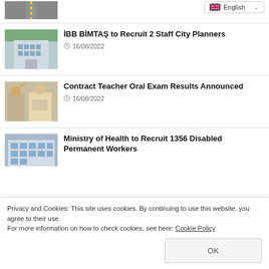[Figure (screenshot): Partial road/highway thumbnail image at top]
[Figure (screenshot): Language selector dropdown showing English with UK flag]
[Figure (photo): Aerial view of a building complex (IBB BIMTAS)]
İBB BİMTAŞ to Recruit 2 Staff City Planners
16/08/2022
[Figure (photo): Classroom scene with student raising hand and teacher]
Contract Teacher Oral Exam Results Announced
16/08/2022
[Figure (photo): Ministry of Health building exterior]
Ministry of Health to Recruit 1356 Disabled Permanent Workers
Privacy and Cookies: This site uses cookies. By continuing to use this website, you agree to their use.
For more information on how to check cookies, see here: Cookie Policy